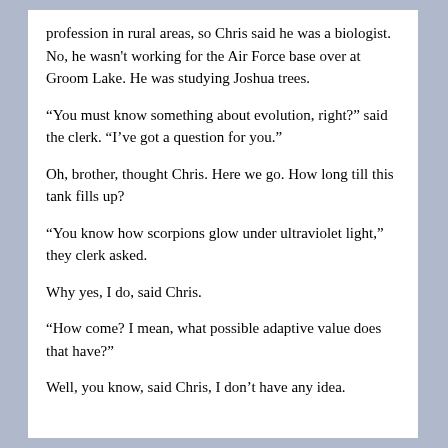profession in rural areas, so Chris said he was a biologist. No, he wasn't working for the Air Force base over at Groom Lake. He was studying Joshua trees.
“You must know something about evolution, right?” said the clerk. “I’ve got a question for you.”
Oh, brother, thought Chris. Here we go. How long till this tank fills up?
“You know how scorpions glow under ultraviolet light,” they clerk asked.
Why yes, I do, said Chris.
“How come? I mean, what possible adaptive value does that have?”
Well, you know, said Chris, I don’t have any idea.